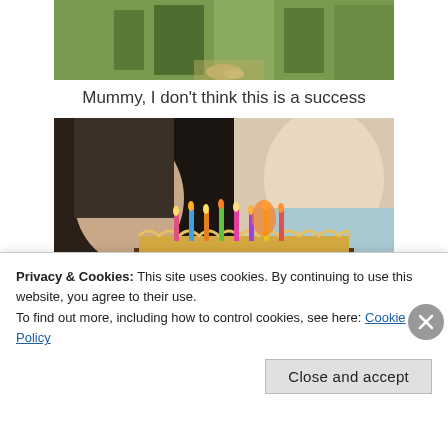[Figure (photo): Top portion of an outdoor photo showing green grass and a path]
Mummy, I don't think this is a success
[Figure (photo): Children lighting candles on a birthday cake with colorful candles]
Privacy & Cookies: This site uses cookies. By continuing to use this website, you agree to their use.
To find out more, including how to control cookies, see here: Cookie Policy
Close and accept